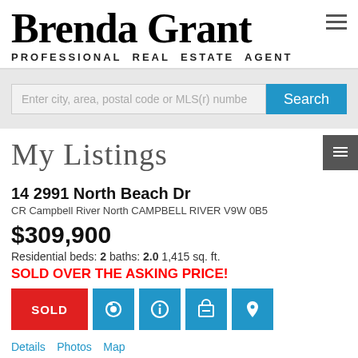Brenda Grant — PROFESSIONAL REAL ESTATE AGENT
[Figure (screenshot): Search bar with input field 'Enter city, area, postal code or MLS(r) numbe' and a blue Search button]
My Listings
14 2991 North Beach Dr
CR Campbell River North CAMPBELL RIVER V9W 0B5
$309,900
Residential beds: 2 baths: 2.0 1,415 sq. ft.
SOLD OVER THE ASKING PRICE!
[Figure (infographic): Action buttons: SOLD (red), camera icon (blue), info icon (blue), print icon (blue), location pin icon (blue)]
Details   Photos   Map